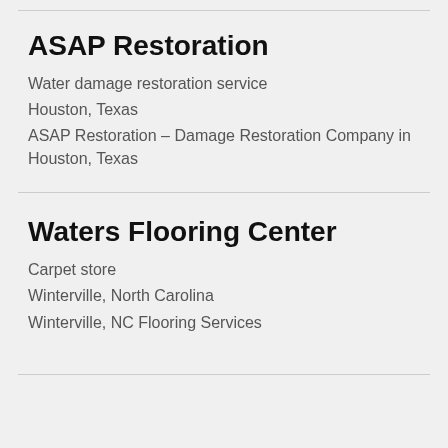ASAP Restoration
Water damage restoration service
Houston, Texas
ASAP Restoration – Damage Restoration Company in Houston, Texas
Waters Flooring Center
Carpet store
Winterville, North Carolina
Winterville, NC Flooring Services